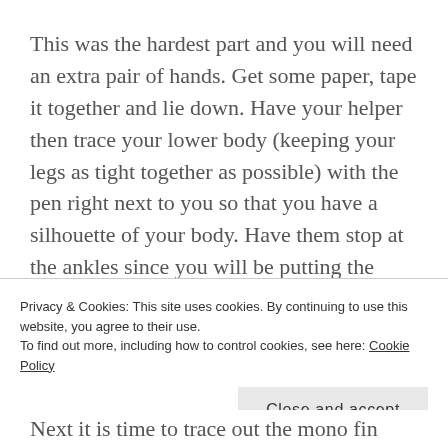This was the hardest part and you will need an extra pair of hands. Get some paper, tape it together and lie down. Have your helper then trace your lower body (keeping your legs as tight together as possible) with the pen right next to you so that you have a silhouette of your body. Have them stop at the ankles since you will be putting the trace out of the mono fin there.
Side note: It is vital to buy a good mono fin. I bought mine at Fin Fun and I love it. It worth the money to
Privacy & Cookies: This site uses cookies. By continuing to use this website, you agree to their use. To find out more, including how to control cookies, see here: Cookie Policy
Close and accept
Next it is time to trace out the mono fin pattern. Lay